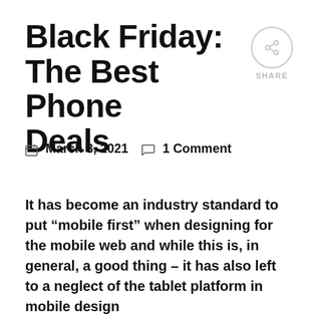Black Friday: The Best Phone Deals
March 3, 2021   1 Comment
It has become an industry standard to put “mobile first” when designing for the mobile web and while this is, in general, a good thing – it has also left to a neglect of the tablet platform in mobile design